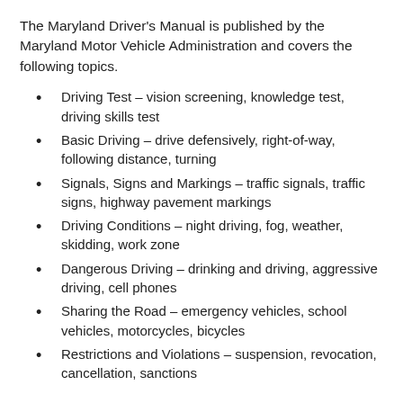The Maryland Driver's Manual is published by the Maryland Motor Vehicle Administration and covers the following topics.
Driving Test – vision screening, knowledge test, driving skills test
Basic Driving – drive defensively, right-of-way, following distance, turning
Signals, Signs and Markings – traffic signals, traffic signs, highway pavement markings
Driving Conditions – night driving, fog, weather, skidding, work zone
Dangerous Driving – drinking and driving, aggressive driving, cell phones
Sharing the Road – emergency vehicles, school vehicles, motorcycles, bicycles
Restrictions and Violations – suspension, revocation, cancellation, sanctions